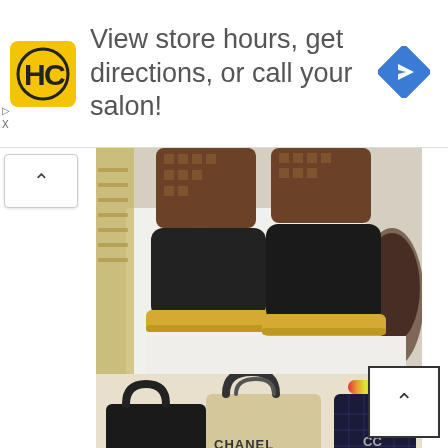[Figure (infographic): Advertisement banner: HC logo (yellow square with black HC letters) and text 'View store hours, get directions, or call your salon!' with a blue diamond-shaped navigation arrow icon on the right.]
[Figure (photo): Photo of Louis Vuitton monogram boots/ankle boots with black body and yellow/cream sole, viewed from above on a white surface.]
[Figure (photo): Photo of multiple Chanel luxury handbags: black and beige Chanel Deauville tote bags with logo, yellow quilted crossbody bags, navy quilted bag with colorful beaded handle, and white Chanel bag with diamond quilting pattern.]